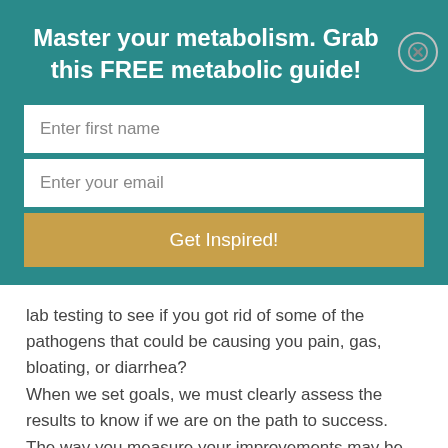Master your metabolism. Grab this FREE metabolic guide!
Enter first name
Enter your email
Get Inspired!
lab testing to see if you got rid of some of the pathogens that could be causing you pain, gas, bloating, or diarrhea?
When we set goals, we must clearly assess the results to know if we are on the path to success.
The way you measure your improvements may be very different from how someone else measures theirs. That is totally okay. But the